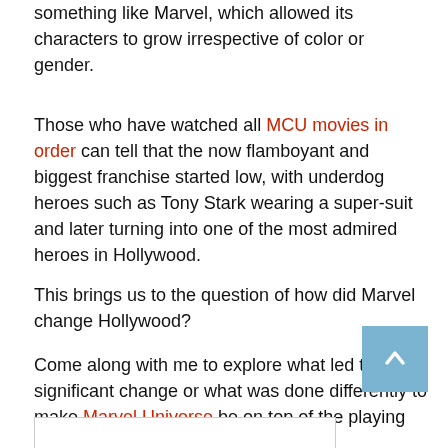something like Marvel, which allowed its characters to grow irrespective of color or gender.
Those who have watched all MCU movies in order can tell that the now flamboyant and biggest franchise started low, with underdog heroes such as Tony Stark wearing a super-suit and later turning into one of the most admired heroes in Hollywood.
This brings us to the question of how did Marvel change Hollywood?
Come along with me to explore what led to this significant change or what was done differently to make Marvel Universe be on top of the playing field.